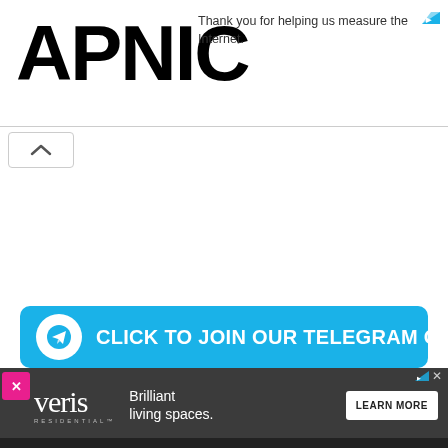[Figure (logo): APNIC logo in large bold black text]
Thank you for helping us measure the Internet.
[Figure (other): Collapse/chevron up button UI element]
[Figure (infographic): Cyan banner: CLICK TO JOIN OUR TELEGRAM CHANNEL with Telegram icon]
[Figure (other): Veris Residential advertisement banner: Brilliant living spaces. LEARN MORE button]